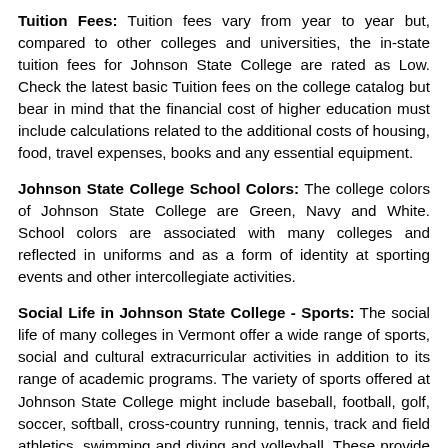Tuition Fees: Tuition fees vary from year to year but, compared to other colleges and universities, the in-state tuition fees for Johnson State College are rated as Low. Check the latest basic Tuition fees on the college catalog but bear in mind that the financial cost of higher education must include calculations related to the additional costs of housing, food, travel expenses, books and any essential equipment.
Johnson State College School Colors: The college colors of Johnson State College are Green, Navy and White. School colors are associated with many colleges and reflected in uniforms and as a form of identity at sporting events and other intercollegiate activities.
Social Life in Johnson State College - Sports: The social life of many colleges in Vermont offer a wide range of sports, social and cultural extracurricular activities in addition to its range of academic programs. The variety of sports offered at Johnson State College might include baseball, football, golf, soccer, softball, cross-country running, tennis, track and field athletics, swimming and diving and volleyball. These provide opportunities for students to participate in sporting activities and joining, for example, soccer or athletic teams. Non-sporting students...